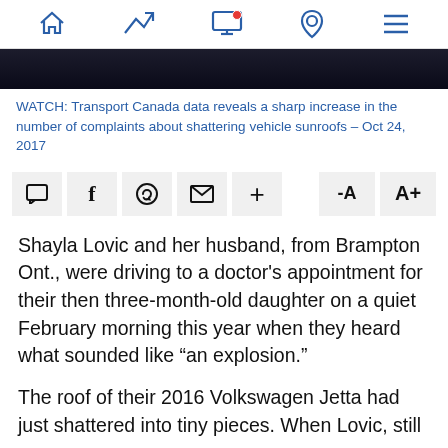Navigation bar with home, trending, screen, location, and menu icons
[Figure (screenshot): Dark image strip at top of article]
WATCH: Transport Canada data reveals a sharp increase in the number of complaints about shattering vehicle sunroofs – Oct 24, 2017
[Figure (infographic): Social sharing toolbar with comment, Facebook, WhatsApp, email, plus buttons, and font size -A A+ buttons]
Shayla Lovic and her husband, from Brampton Ont., were driving to a doctor's appointment for their then three-month-old daughter on a quiet February morning this year when they heard what sounded like “an explosion.”
The roof of their 2016 Volkswagen Jetta had just shattered into tiny pieces. When Lovic, still